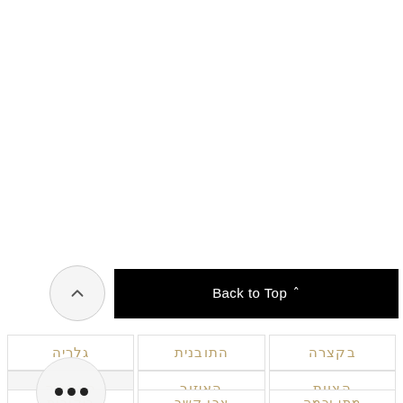[Figure (screenshot): UI screenshot showing a 'Back to Top' button (black bar with upward chevron) next to a circular arrow-up button, above a navigation grid with Hebrew menu items: גלריה, התובנית, בקצרה (row 1), האחונה (selected, with dots overlay), האיזור, הצוות (row 2), ביקורות, צרו קשר, מתי וכמה (row 3 partial)]